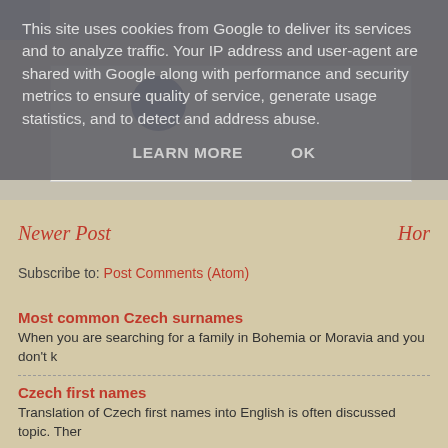This site uses cookies from Google to deliver its services and to analyze traffic. Your IP address and user-agent are shared with Google along with performance and security metrics to ensure quality of service, generate usage statistics, and to detect and address abuse.
LEARN MORE   OK
[Figure (screenshot): Partial webpage screenshot showing a blog page with a white content area, avatar icon, and left sidebar over a grey/tan background]
Newer Post
Hor
Subscribe to: Post Comments (Atom)
Most common Czech surnames
When you are searching for a family in Bohemia or Moravia and you don't k
Czech first names
Translation of Czech first names into English is often discussed topic. Ther